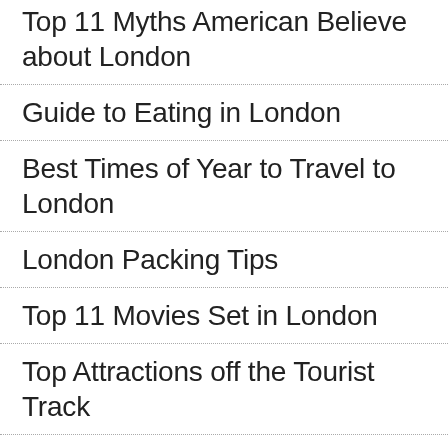Top 11 Myths American Believe about London
Guide to Eating in London
Best Times of Year to Travel to London
London Packing Tips
Top 11 Movies Set in London
Top Attractions off the Tourist Track
Top Trips beyond London (partial)